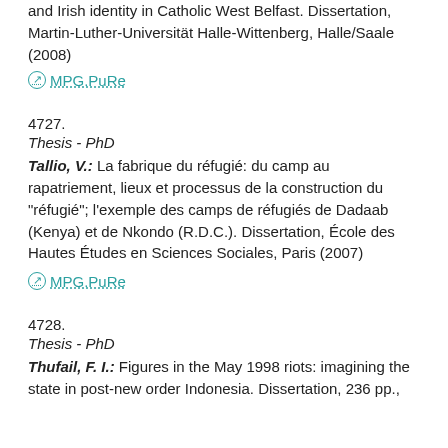and Irish identity in Catholic West Belfast. Dissertation, Martin-Luther-Universität Halle-Wittenberg, Halle/Saale (2008)
⊙ MPG.PuRe
4727.
Thesis - PhD
Tallio, V.: La fabrique du réfugié: du camp au rapatriement, lieux et processus de la construction du "réfugié"; l'exemple des camps de réfugiés de Dadaab (Kenya) et de Nkondo (R.D.C.). Dissertation, École des Hautes Études en Sciences Sociales, Paris (2007)
⊙ MPG.PuRe
4728.
Thesis - PhD
Thufail, F. I.: Figures in the May 1998 riots: imagining the state in post-new order Indonesia. Dissertation, 236 pp.,